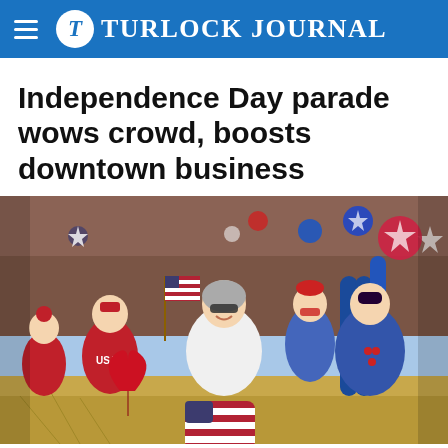Turlock Journal
Independence Day parade wows crowd, boosts downtown business
[Figure (photo): People on a parade float decorated with American flags, balloons in red white and blue, and patriotic decorations. Children and adults are waving, holding inflatable bats and star-spangled balloons. A woman in white is smiling at the center.]